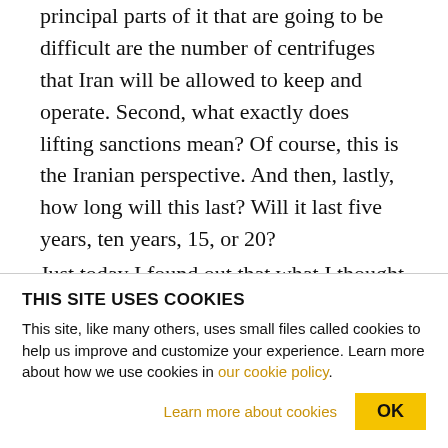principal parts of it that are going to be difficult are the number of centrifuges that Iran will be allowed to keep and operate. Second, what exactly does lifting sanctions mean? Of course, this is the Iranian perspective. And then, lastly, how long will this last? Will it last five years, ten years, 15, or 20?
Just today I found out that what I thought was the principal issue, number of centrifuges, has probably been at least tentatively worked out and that now the issue is lifting of sanctions. That is to say, Iran is very
THIS SITE USES COOKIES
This site, like many others, uses small files called cookies to help us improve and customize your experience. Learn more about how we use cookies in our cookie policy.
Learn more about cookies
OK